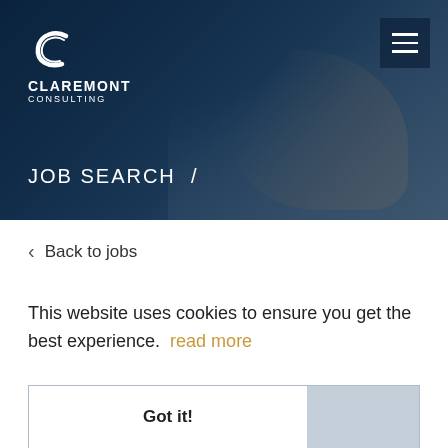[Figure (screenshot): Hero banner with dark blue overlay showing hands holding a pen/tablet. Claremont Consulting logo in top-left, hamburger menu in top-right, 'JOB SEARCH /' text overlay at bottom-left.]
CLAREMONT CONSULTING
JOB SEARCH /
< Back to jobs
This website uses cookies to ensure you get the best experience. read more
Got it!